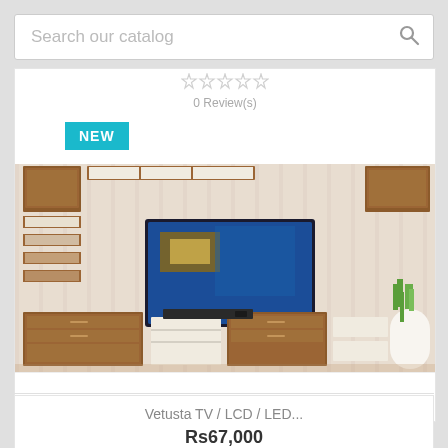[Figure (screenshot): Search bar with placeholder text 'Search our catalog' and a magnifying glass icon on the right]
0 Review(s)
[Figure (photo): NEW badge in teal/cyan color]
[Figure (photo): Vetusta TV/LCD/LED wall unit furniture product photo showing a wooden TV cabinet with shelves, a mounted TV displaying a landscape, and a decorative plant]
Vetusta TV / LCD / LED...
Rs67,000
0 Review(s)
[Figure (photo): Partial NEW badge in teal/cyan color at bottom of page]